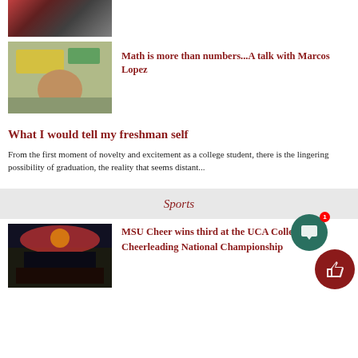[Figure (photo): Partially visible photo strip at top of page showing people]
[Figure (photo): Photo of Marcos Lopez, a man in a plaid shirt sitting in a chair in a colorful room]
Math is more than numbers...A talk with Marcos Lopez
What I would tell my freshman self
From the first moment of novelty and excitement as a college student, there is the lingering possibility of graduation, the reality that seems distant...
Sports
[Figure (photo): Photo of MSU Cheer team group photo at a cheerleading competition venue]
MSU Cheer wins third at the UCA College Cheerleading National Championship